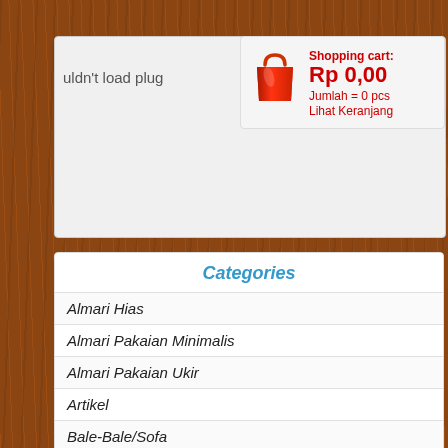[Figure (screenshot): Shopping cart widget showing Rp 0,00, Jumlah = 0 pcs, Lihat Keranjang with a red shopping bag icon]
uldn't load plug
Categories
Almari Hias
Almari Pakaian Minimalis
Almari Pakaian Ukir
Artikel
Bale-Bale/Sofa
Bok Bayi
Bufet Jepara
Bufet Minimalis
Dipan Anak
Dipan Mewah
Dipan Minimalis
Dipan Tingkat
Dipan Ukir
Garuda Ukir Kayu
Gazebo